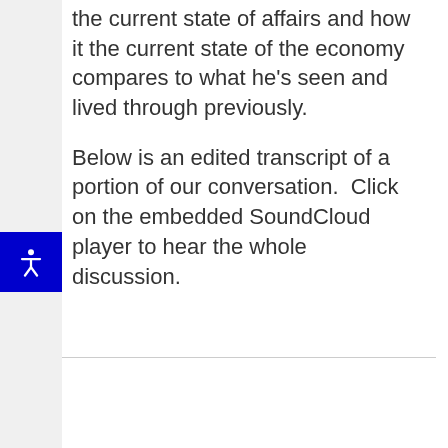the current state of affairs and how it the current state of the economy compares to what he's seen and lived through previously.
Below is an edited transcript of a portion of our conversation.  Click on the embedded SoundCloud player to hear the whole discussion.
[Figure (other): Accessibility icon button — blue square with white person figure (universal accessibility symbol)]